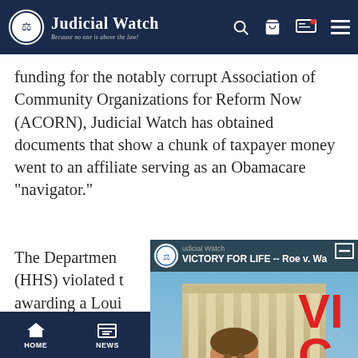Judicial Watch — Because no one is above the law!
funding for the notably corrupt Association of Community Organizations for Reform Now (ACORN), Judicial Watch has obtained documents that show a chunk of taxpayer money went to an affiliate serving as an Obamacare "navigator."
The Department (HHS) violated the law by awarding a Louisiana-based United Neighborhood … Obamacare navigator grant under the president's … them "navigate" …
[Figure (screenshot): Embedded video player showing Judicial Watch 'VICTORY FOR LIFE -- Roe v. Wa...' with a man in a red polo shirt in front of the Supreme Court building, and large red VIC / OV text overlay]
HOME | NEWS | JWTV | STORE | DONATE